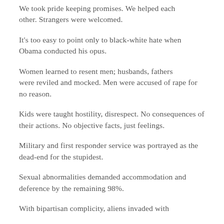We took pride keeping promises. We helped each other. Strangers were welcomed.
It's too easy to point only to black-white hate when Obama conducted his opus.
Women learned to resent men; husbands, fathers were reviled and mocked. Men were accused of rape for no reason.
Kids were taught hostility, disrespect. No consequences of their actions. No objective facts, just feelings.
Military and first responder service was portrayed as the dead-end for the stupidest.
Sexual abnormalities demanded accommodation and deference by the remaining 98%.
With bipartisan complicity, aliens invaded with